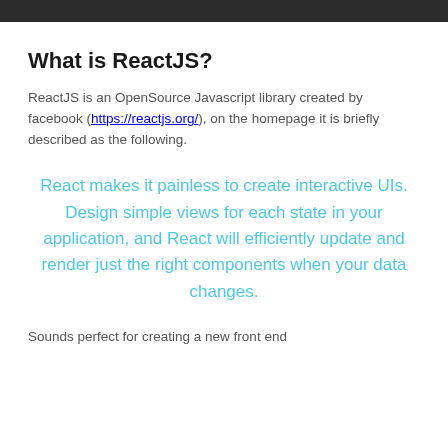What is ReactJS?
ReactJS is an OpenSource Javascript library created by facebook (https://reactjs.org/), on the homepage it is briefly described as the following.
React makes it painless to create interactive UIs. Design simple views for each state in your application, and React will efficiently update and render just the right components when your data changes.
Sounds perfect for creating a new front end